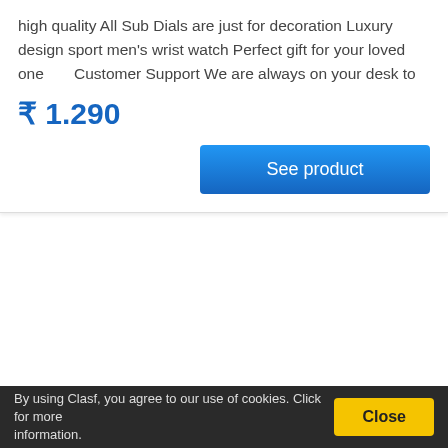high quality All Sub Dials are just for decoration Luxury design sport men's wrist watch Perfect gift for your loved one      Customer Support We are always on your desk to
₹ 1.290
See product
By using Clasf, you agree to our use of cookies. Click for more information. Close